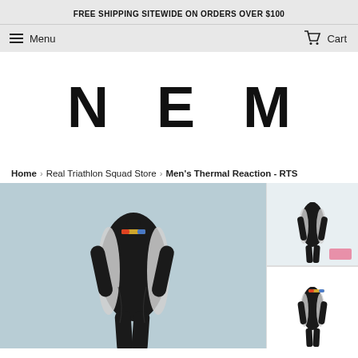FREE SHIPPING SITEWIDE ON ORDERS OVER $100
Menu   Cart
N E M
Home › Real Triathlon Squad Store › Men's Thermal Reaction - RTS
[Figure (photo): Men's thermal reaction wetsuit (black with white side panel and colorful logo) displayed on a mannequin against a light blue background. Main large product image with two smaller thumbnail images on the right.]